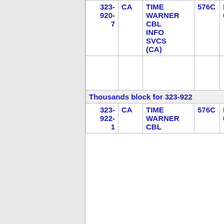| Number | ST | Name | Code | LSAN |
| --- | --- | --- | --- | --- |
| 323-920-7 | CA | TIME WARNER CBL INFO SVCS (CA) | 576C | LSAN DA 09 |
|  |  |  |  |  |
| Thousands block for 323-922 |  |  |  |  |
| 323-922-1 | CA | TIME WARNER CBL | 576C | LSAN DA 02 |